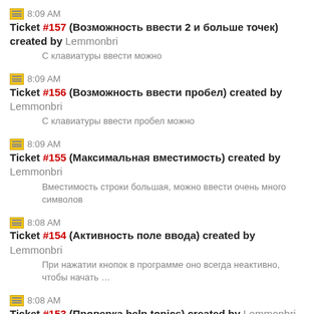8:09 AM Ticket #157 (Возможность ввести 2 и больше точек) created by Lemmonbri
С клавиатуры ввести можно
8:09 AM Ticket #156 (Возможность ввести пробел) created by Lemmonbri
С клавиатуры ввести пробел можно
8:09 AM Ticket #155 (Максимальная вместимость) created by Lemmonbri
Вместимость строки большая, можно ввести очень много символов
8:08 AM Ticket #154 (Активность поле ввода) created by Lemmonbri
При нажатии кнопок в программе оно всегда неактивно, чтобы начать …
8:08 AM Ticket #153 (Проверка help topics) created by Lemmonbri
Не работает, отсутствует файл
8:08 AM Ticket #152 (Проверка paste) created by Lemmonbri